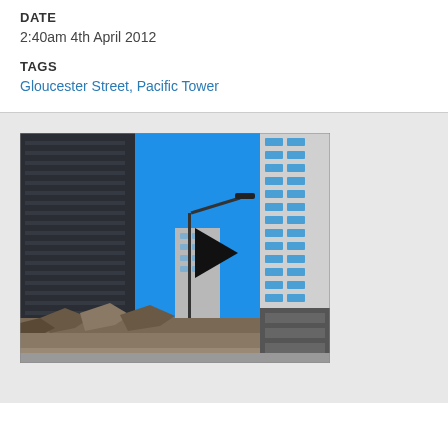DATE
2:40am 4th April 2012
TAGS
Gloucester Street, Pacific Tower
[Figure (photo): Street-level photograph showing Gloucester Street, Christchurch, with the Pacific Tower (tall modern building with blue-framed windows) on the right, another dark glass office building on the left, a street lamp with a black triangular flag/banner in the center, blue sky, and earthquake rubble/debris at the bottom foreground.]